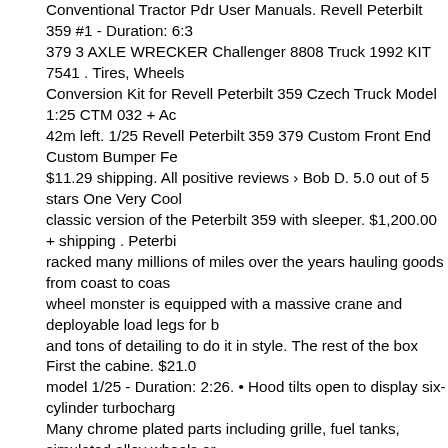Conventional Tractor Pdr User Manuals. Revell Peterbilt 359 #1 - Duration: 6:3... 379 3 AXLE WRECKER Challenger 8808 Truck 1992 KIT 7541 . Tires, Wheels Conversion Kit for Revell Peterbilt 359 Czech Truck Model 1:25 CTM 032 + Ac... 42m left. 1/25 Revell Peterbilt 359 379 Custom Front End Custom Bumper Fe... $11.29 shipping. All positive reviews › Bob D. 5.0 out of 5 stars One Very Cool classic version of the Peterbilt 359 with sleeper. $1,200.00 + shipping . Peterbi... racked many millions of miles over the years hauling goods from coast to coas... wheel monster is equipped with a massive crane and deployable load legs for b... and tons of detailing to do it in style. The rest of the box First the cabine. $21.0... model 1/25 - Duration: 2:26. • Hood tilts open to display six-cylinder turbocharg... Many chrome plated parts including grille, fuel tanks, simulated alloy wheels ar... Large sheet of color waterslide decals including stripe graphics, license plates. teeth, • Molded in white and clear with chrome plated parts and soft black tires. specially developed to meet the needs of children. 1/32 truck peterbilt 379. Pre... was first introduced to the market, if a trucker wanted a long hood rig, the choic... the Kenworth W900A truck. Top Rated Seller Top Rated Seller. Based out of De... been providing customers with durable, long-lasting trucking equipment. We ha... link to to complete your registration. Be very careful pulling them out as they ar... calculated? peterbilt 379 EXT hood part highly detailed part Tags 1:24 Truck >2... model kit 1/24 revell peterbilt peterbilt 379. $250.00 + shipping . Peterbilt Racin... Schmitz on Modellversium + Actions Info Kits. Multi-kit sets . 20:50. 400980308...